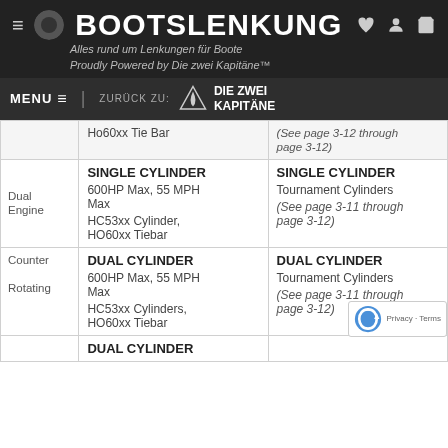BOOTSLENKUNG
Alles rund um Lenkungen für Boote
Proudly Powered by Die zwei Kapitäne™
MENU  ZURÜCK ZU: DIE ZWEI KAPITÄNE
|  | SINGLE CYLINDER / DUAL CYLINDER specs | SINGLE CYLINDER / DUAL CYLINDER Tournament |
| --- | --- | --- |
|  | Ho60xx Tie Bar | (See page 3-12 through page 3-12) |
| Dual Engine | SINGLE CYLINDER
600HP Max, 55 MPH Max
HC53xx Cylinder, HO60xx Tiebar | SINGLE CYLINDER
Tournament Cylinders
(See page 3-11 through page 3-12) |
| Counter Rotating | DUAL CYLINDER
600HP Max, 55 MPH Max
HC53xx Cylinders, HO60xx Tiebar | DUAL CYLINDER
Tournament Cylinders
(See page 3-11 through page 3-12) |
|  | DUAL CYLINDER |  |